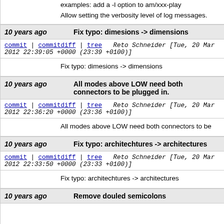examples: add a -l option to am/xxx-play

Allow setting the verbosity level of log messages.
10 years ago   Fix typo: dimesions -> dimensions
commit | commitdiff | tree   Reto Schneider [Tue, 20 Mar 2012 22:39:05 +0000 (23:39 +0100)]
Fix typo: dimesions -> dimensions
10 years ago   All modes above LOW need both connectors to be plugged in.
commit | commitdiff | tree   Reto Schneider [Tue, 20 Mar 2012 22:36:20 +0000 (23:36 +0100)]
All modes above LOW need both connectors to be
10 years ago   Fix typo: architechtures -> architectures
commit | commitdiff | tree   Reto Schneider [Tue, 20 Mar 2012 22:33:50 +0000 (23:33 +0100)]
Fix typo: architechtures -> architectures
10 years ago   Remove douled semicolons